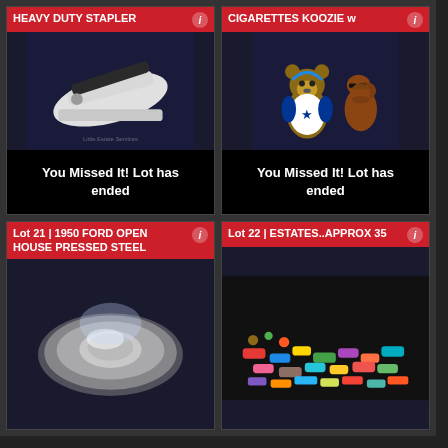[Figure (photo): Auction listing card: Heavy duty stapler, white, on dark background. Title bar reads 'HEAVY DUTY STAPLER'. Status: 'You Missed It! Lot has ended']
[Figure (photo): Auction listing card: Dallas Cowboys teddy bear and camel cigarette koozie figurine with sunglasses. Title bar reads 'CIGARETTES KOOZIE w'. Status: 'You Missed It! Lot has ended']
[Figure (photo): Auction listing card: Lot 21 - 1950 Ford Open House Pressed Steel item on metallic tray/plate, viewed from above.]
[Figure (photo): Auction listing card: Lot 22 - Estates approx 35 die-cast toy cars and figures arranged on dark surface.]